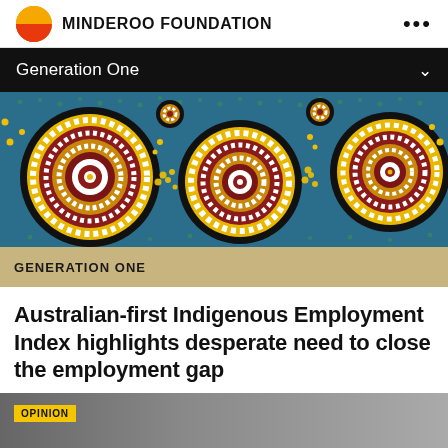MINDEROO FOUNDATION
Generation One
[Figure (illustration): Aboriginal dot-painting artwork featuring concentric circles in red, white, yellow, and gold on a blue-green background with dot patterns]
GENERATION ONE
Australian-first Indigenous Employment Index highlights desperate need to close the employment gap
[Figure (photo): Bottom strip showing the start of another article with an OPINION label tag in yellow]